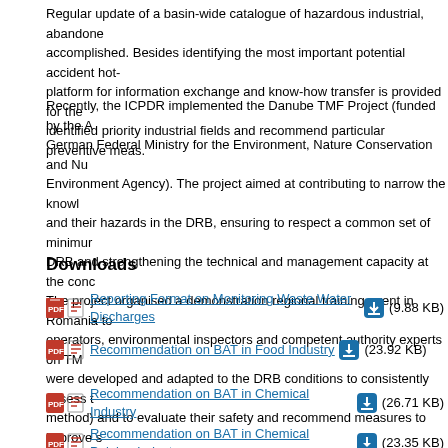Regular update of a basin-wide catalogue of hazardous industrial, abandoned and mining sites was accomplished. Besides identifying the most important potential accident hot-spots, an internet platform for information exchange and know-how transfer is provided for the community to the identified priority industrial fields and recommend particular preventive measures.
Recently, the ICPDR implemented the Danube TMF Project (funded by the Austrian and German Federal Ministry for the Environment, Nature Conservation and Nuclear Safety German Environment Agency). The project aimed at contributing to narrow the knowledge gap on TMFs and their hazards in the DRB, ensuring to respect a common set of minimum safety requirements in the DRB and strengthening the technical and management capacity at the concerned TMF operators. The project organised a demonstration regional training event in Romania to trainers of TMF operators, environmental inspectors and competent authority experts on TMF safety. Methods were developed and adapted to the DRB conditions to consistently assess the hazard potential (point method) and to evaluate their safety and recommend measures to improve safety.
Downloads
Reporting Format on Monitoring Waste Water Discharges (9.88 KB)
Recommendation on BAT in Food Industry (23.92 KB)
Recommendation on BAT in Chemical Industry (26.71 KB)
Recommendation on BAT in Chemical Pulping Industry (23.35 KB)